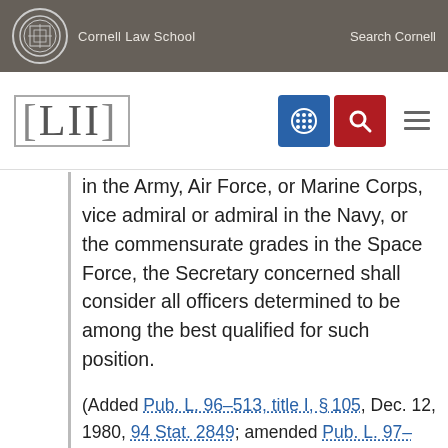Cornell Law School   Search Cornell
[Figure (logo): LII Legal Information Institute logo with navigation icons]
in the Army, Air Force, or Marine Corps, vice admiral or admiral in the Navy, or the commensurate grades in the Space Force, the Secretary concerned shall consider all officers determined to be among the best qualified for such position.
(Added Pub. L. 96–513, title I, §105, Dec. 12, 1980, 94 Stat. 2849; amended Pub. L. 97–86, title IV, §405(b)(1), Dec. 1, 1981, 95 Stat. 1105; Pub. L. 98–525, title V, §523, Oct. 19, 1984, 98 Stat. 2523; Pub. L. 99–145, title V, §514(b)(1), Nov. 8, 1985, 99 Stat. 628; Pub. L. 99–433, title IV, §403, Oct. 1, 1986, 100